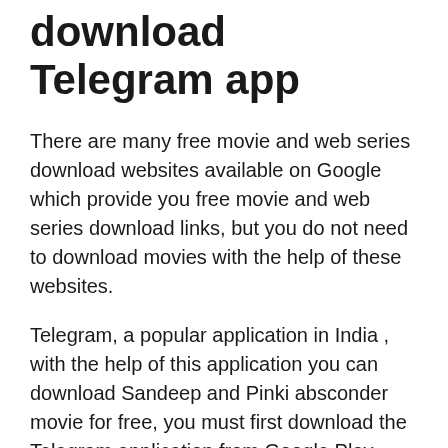download Telegram app
There are many free movie and web series download websites available on Google which provide you free movie and web series download links, but you do not need to download movies with the help of these websites.
Telegram, a popular application in India , with the help of this application you can download Sandeep and Pinki absconder movie for free, you must first download the Telegram application from Google Play Store and register with your mobile number, by you After those registered. Your basic